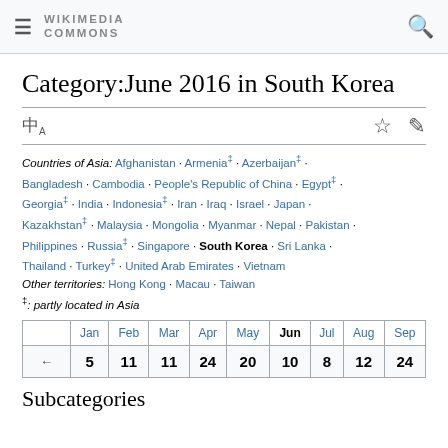WIKIMEDIA COMMONS
Category:June 2016 in South Korea
Countries of Asia: Afghanistan · Armenia‡ · Azerbaijan‡ · Bangladesh · Cambodia · People's Republic of China · Egypt‡ · Georgia‡ · India · Indonesia‡ · Iran · Iraq · Israel · Japan · Kazakhstan‡ · Malaysia · Mongolia · Myanmar · Nepal · Pakistan · Philippines · Russia‡ · Singapore · South Korea · Sri Lanka · Thailand · Turkey‡ · United Arab Emirates · Vietnam
Other territories: Hong Kong · Macau · Taiwan
‡: partly located in Asia
|  | Jan | Feb | Mar | Apr | May | Jun | Jul | Aug | Sep |
| --- | --- | --- | --- | --- | --- | --- | --- | --- | --- |
| ← | 5 | 11 | 11 | 24 | 20 | 10 | 8 | 12 | 24 |
Subcategories